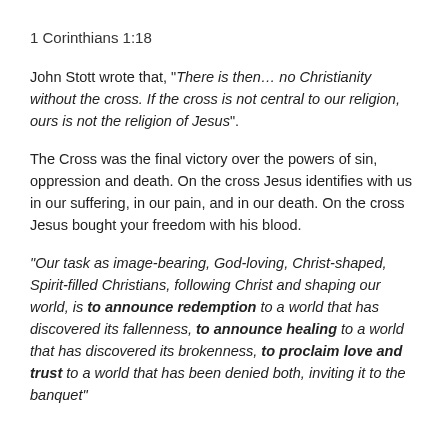1 Corinthians 1:18
John Stott wrote that, “There is then… no Christianity without the cross. If the cross is not central to our religion, ours is not the religion of Jesus”.
The Cross was the final victory over the powers of sin, oppression and death. On the cross Jesus identifies with us in our suffering, in our pain, and in our death. On the cross Jesus bought your freedom with his blood.
“Our task as image-bearing, God-loving, Christ-shaped, Spirit-filled Christians, following Christ and shaping our world, is to announce redemption to a world that has discovered its fallenness, to announce healing to a world that has discovered its brokenness, to proclaim love and trust to a world that has been denied both, inviting it to the banquet”